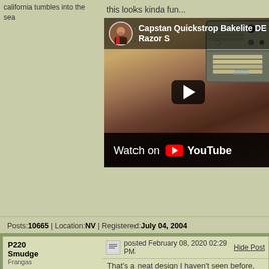california tumbles into the sea
this looks kinda fun...
[Figure (screenshot): YouTube video thumbnail showing a hand holding a small razor or blade near a Capstan Quickstrop Bakelite DE Razor tin with Personna razor blades. Title reads 'Capstan Quickstrop Bakelite DE Razor S'. Play button centered. 'Watch on YouTube' bar at bottom.]
Posts: 10665 | Location: NV | Registered: July 04, 2004
P220 Smudge Frangas
posted February 08, 2020 02:29 PM
Hide Post
That's a neat design I haven't seen before, I've seen